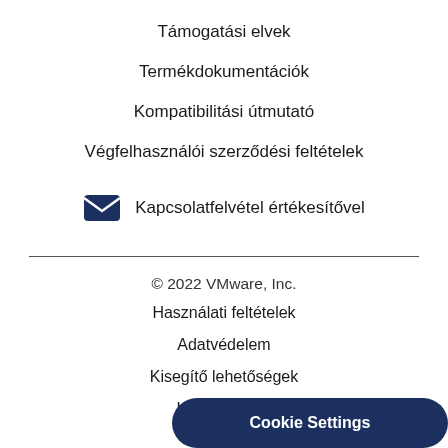Támogatási elvek
Termékdokumentációk
Kompatibilitási útmutató
Végfelhasználói szerződési feltételek
Kapcsolatfelvétel értékesítővel
© 2022 VMware, Inc.
Használati feltételek
Adatvédelem
Kisegítő lehetőségek
Honlaptérkép
Cookie Settings